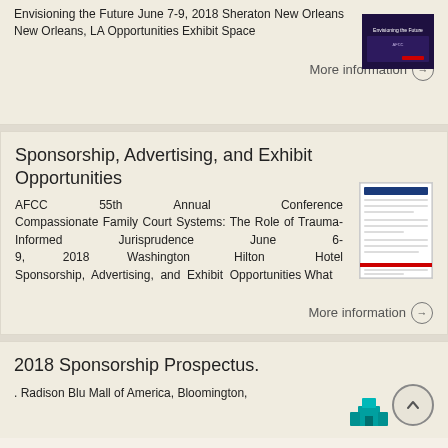Envisioning the Future June 7-9, 2018 Sheraton New Orleans New Orleans, LA Opportunities Exhibit Space
More information →
Sponsorship, Advertising, and Exhibit Opportunities
AFCC 55th Annual Conference Compassionate Family Court Systems: The Role of Trauma-Informed Jurisprudence June 6-9, 2018 Washington Hilton Hotel Sponsorship, Advertising, and Exhibit Opportunities What
More information →
2018 Sponsorship Prospectus.
. Radison Blu Mall of America, Bloomington,